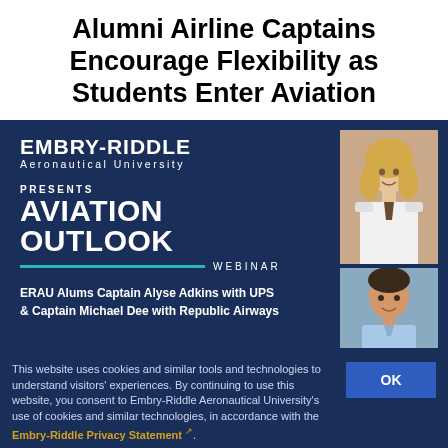Alumni Airline Captains Encourage Flexibility as Students Enter Aviation
[Figure (screenshot): Embry-Riddle Aeronautical University Aviation Outlook Webinar promotional banner featuring two ERAU alumni airline captains: Captain Alyse Adkins with UPS and Captain Michael Dee with Republic Airways. Dark navy blue background with white text, teal accent line, and portrait photos of the two captains.]
This website uses cookies and similar tools and technologies to understand visitors' experiences. By continuing to use this website, you consent to Embry-Riddle Aeronautical University's use of cookies and similar technologies, in accordance with the Embry-Riddle Privacy Statement.